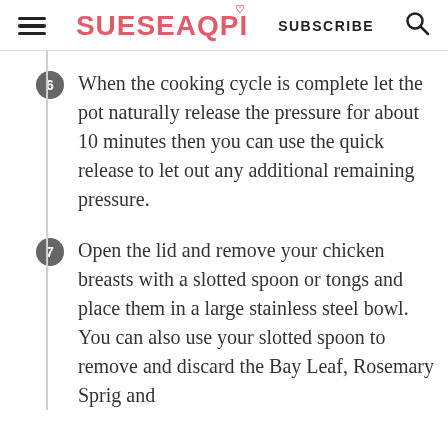SUESEAQPI — SUBSCRIBE
When the cooking cycle is complete let the pot naturally release the pressure for about 10 minutes then you can use the quick release to let out any additional remaining pressure.
Open the lid and remove your chicken breasts with a slotted spoon or tongs and place them in a large stainless steel bowl. You can also use your slotted spoon to remove and discard the Bay Leaf, Rosemary Sprig and